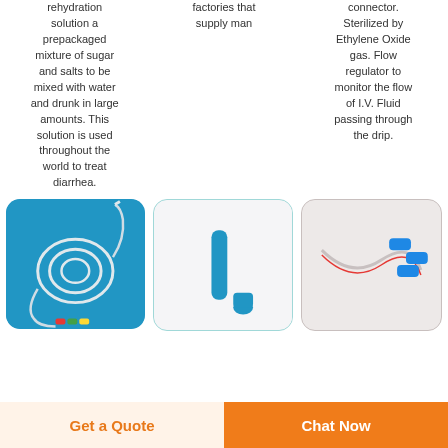rehydration solution a prepackaged mixture of sugar and salts to be mixed with water and drunk in large amounts. This solution is used throughout the world to treat diarrhea.
factories that supply man
connector. Sterilized by Ethylene Oxide gas. Flow regulator to monitor the flow of I.V. Fluid passing through the drip.
[Figure (photo): Medical tubing coiled on a blue background with colored connectors at one end]
[Figure (photo): Blue medical tube/catheter components on a white background]
[Figure (photo): Medical tubing with blue connectors on a light beige/gray background]
Get a Quote
Chat Now